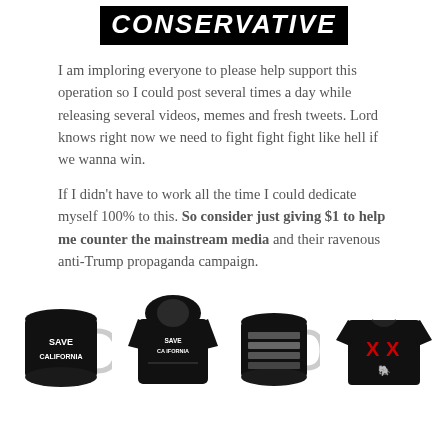[Figure (logo): Black banner with bold white italic text reading CONSERVATIVE]
I am imploring everyone to please help support this operation so I could post several times a day while releasing several videos, memes and fresh tweets. Lord knows right now we need to fight fight fight like hell if we wanna win.
If I didn't have to work all the time I could dedicate myself 100% to this. So consider just giving $1 to help me counter the mainstream media and their ravenous anti-Trump propaganda campaign.
[Figure (photo): Row of four conservative merchandise products: a black mug reading SAVE CALIFORNIA, a black hoodie reading SAVE CALIFORNIA, a black mug with flag stripes, and a black t-shirt with XX and Republican elephant logo]